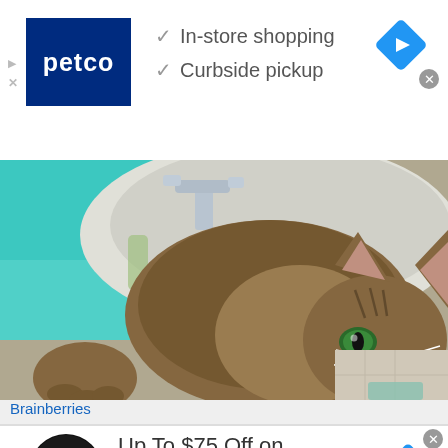[Figure (screenshot): Petco advertisement banner with logo, checkmarks for In-store shopping and Curbside pickup, navigation and close icons]
[Figure (photo): A tabby cat lying in a bathroom sink, looking at the camera with wide eyes, with a chrome faucet visible in the background and teal/turquoise counter]
Brainberries
[Figure (screenshot): Virginia Tire & Auto advertisement: Up To $75 Off on Goodyear Tires at Virginia Tire & Auto, with circular logo and navigation icon]